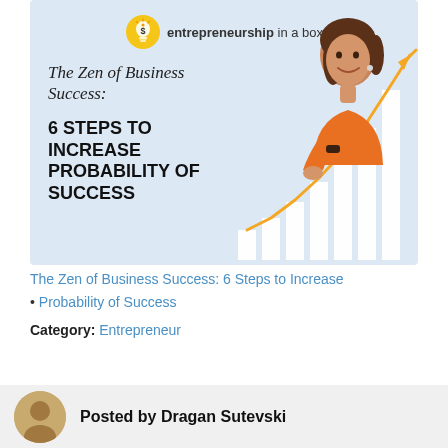[Figure (illustration): Entrepreneurship in a Box blog post banner with light blue background, logo with lightbulb icon at top center, italic serif title 'The Zen of Business Success:' and bold sans-serif subtitle '6 STEPS TO INCREASE PROBABILITY OF SUCCESS' on the left, woman in orange shirt leaning on a white bar chart with upward orange arrow on the right.]
The Zen of Business Success: 6 Steps to Increase
Probability of Success
Category: Entrepreneur
Posted by Dragan Sutevski